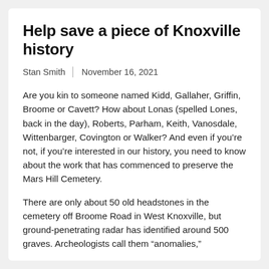Help save a piece of Knoxville history
Stan Smith | November 16, 2021
Are you kin to someone named Kidd, Gallaher, Griffin, Broome or Cavett? How about Lonas (spelled Lones, back in the day), Roberts, Parham, Keith, Vanosdale, Wittenbarger, Covington or Walker? And even if you’re not, if you’re interested in our history, you need to know about the work that has commenced to preserve the Mars Hill Cemetery.
There are only about 50 old headstones in the cemetery off Broome Road in West Knoxville, but ground-penetrating radar has identified around 500 graves. Archeologists call them “anomalies,”